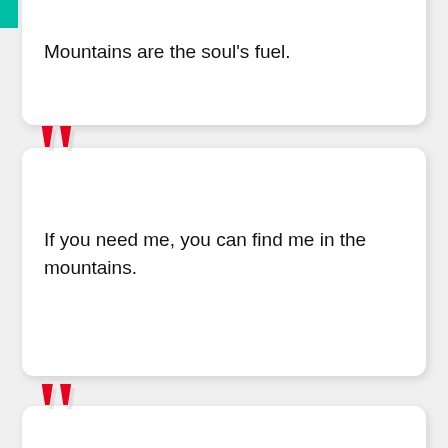Mountains are the soul's fuel.
If you need me, you can find me in the mountains.
Find me where the wild things are.